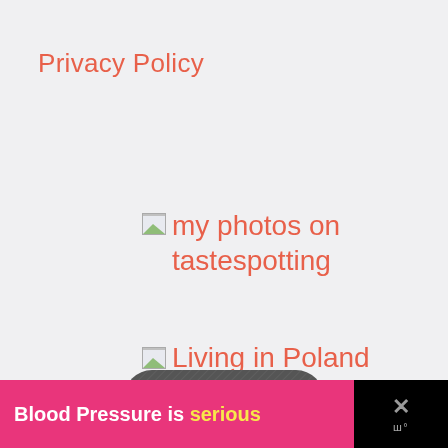Privacy Policy
my photos on tastespotting
Living in Poland
[Figure (illustration): Rounded square dark gray icon with white envelope/bowl shape at bottom, partially visible]
Blood Pressure is serious